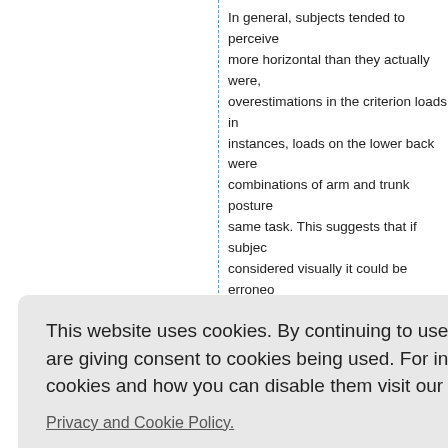In general, subjects tended to perceive more horizontal than they actually were, overestimations in the criterion loads in instances, loads on the lower back were combinations of arm and trunk posture same task. This suggests that if subjec considered visually it could be erroneo numerical estimates of load alone that how subjects perceive, recall and desc
Most of them fall in category 3 and 4, w letal syste back, sho
heavy cyli stribute t ar spine. h the wei exed the back exte stretching of back extensors the lumba mechanical disadvantage
This website uses cookies. By continuing to use this website you are giving consent to cookies being used. For information on cookies and how you can disable them visit our Privacy and Cookie Policy. AGREE & PROCEED